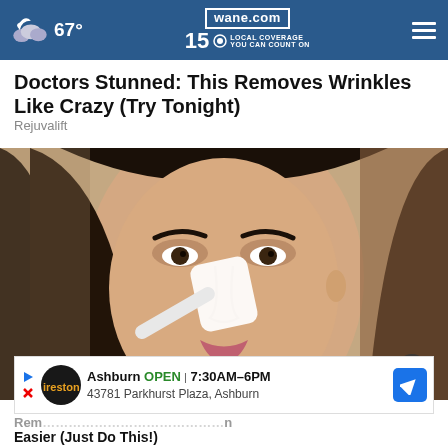67° | wane.com 15 LOCAL COVERAGE YOU CAN COUNT ON
Doctors Stunned: This Removes Wrinkles Like Crazy (Try Tonight)
Rejuvalift
[Figure (photo): Close-up photo of a woman with dark hair applying a white cream or strip to her nose area with a brush or applicator]
Ashburn OPEN | 7:30AM–6PM 43781 Parkhurst Plaza, Ashburn
Rem... n Easier (Just Do This!)